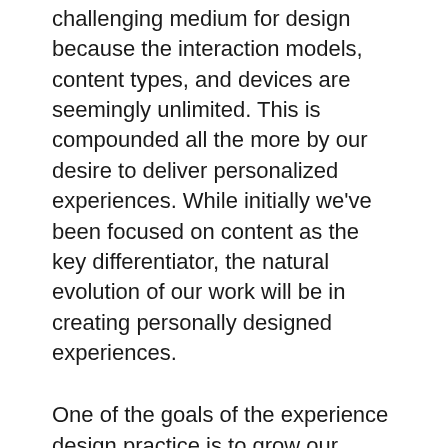challenging medium for design because the interaction models, content types, and devices are seemingly unlimited. This is compounded all the more by our desire to deliver personalized experiences. While initially we've been focused on content as the key differentiator, the natural evolution of our work will be in creating personally designed experiences.
One of the goals of the experience design practice is to grow our business outside the scope of technology implementations. As we assist our clients with digital transformation, we ought to be able to improve the overall brand experience just by improving the design. Knowing that technology implementations take a long time, a quick win